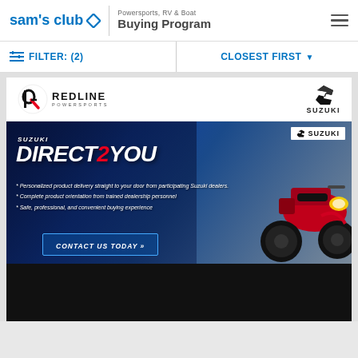sam's club ◇ | Powersports, RV & Boat Buying Program
FILTER: (2)   CLOSEST FIRST
[Figure (logo): Redline Powersports logo with stylized R icon and SUZUKI brand logo]
[Figure (infographic): Suzuki Direct 2 You advertisement banner featuring a red ATV. Text reads: SUZUKI DIRECT2YOU. Bullet points: Personalized product delivery straight to your door from participating Suzuki dealers. Complete product orientation from trained dealership personnel. Safe, professional, and convenient buying experience. CONTACT US TODAY.]